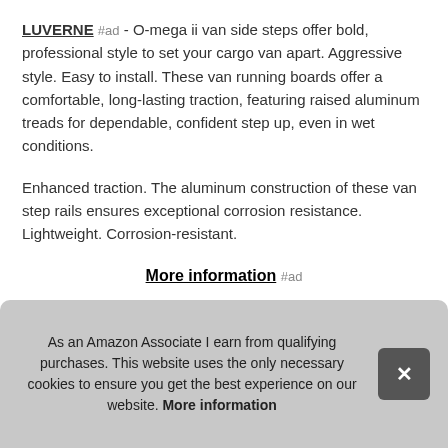LUVERNE #ad - O-mega ii van side steps offer bold, professional style to set your cargo van apart. Aggressive style. Easy to install. These van running boards offer a comfortable, long-lasting traction, featuring raised aluminum treads for dependable, confident step up, even in wet conditions.
Enhanced traction. The aluminum construction of these van step rails ensures exceptional corrosion resistance. Lightweight. Corrosion-resistant.
More information #ad
O-m light finis the
As an Amazon Associate I earn from qualifying purchases. This website uses the only necessary cookies to ensure you get the best experience on our website. More information